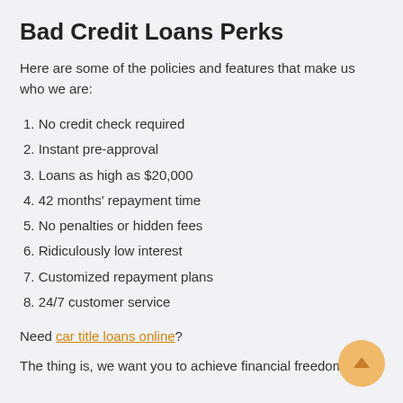Bad Credit Loans Perks
Here are some of the policies and features that make us who we are:
1. No credit check required
2. Instant pre-approval
3. Loans as high as $20,000
4. 42 months' repayment time
5. No penalties or hidden fees
6. Ridiculously low interest
7. Customized repayment plans
8. 24/7 customer service
Need car title loans online? The thing is, we want you to achieve financial freedom as